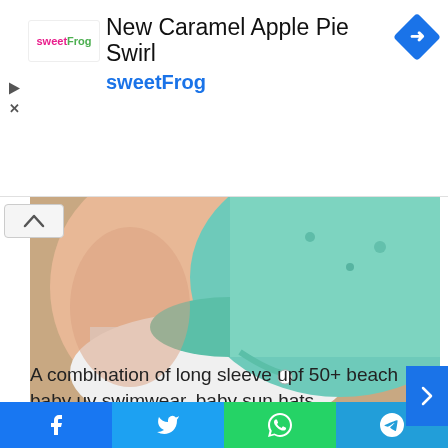[Figure (other): SweetFrog advertisement banner with logo, title 'New Caramel Apple Pie Swirl', subtitle 'sweetFrog', navigation diamond icon, play and close icons]
[Figure (photo): Photo of a baby wearing a mint green sun hat with animal prints, lying down, wearing a white shirt]
Source: www.pinterest.com
A combination of long sleeve upf 50+ beach baby uv swimwear, baby sun hats, sunglasses, and sunscreen (for
[Figure (other): Social share bar with Facebook, Twitter, WhatsApp, and Telegram buttons]